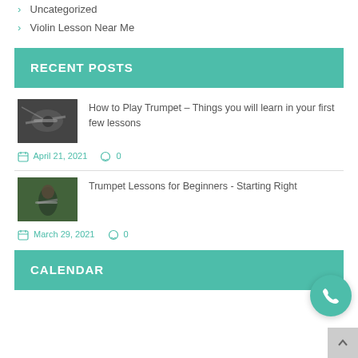Uncategorized
Violin Lesson Near Me
RECENT POSTS
[Figure (photo): Black and white photo of a person playing trumpet with stage lighting]
How to Play Trumpet – Things you will learn in your first few lessons
April 21, 2021   0
[Figure (photo): Color photo of a person in dark jacket playing trumpet outdoors]
Trumpet Lessons for Beginners - Starting Right
March 29, 2021   0
CALENDAR